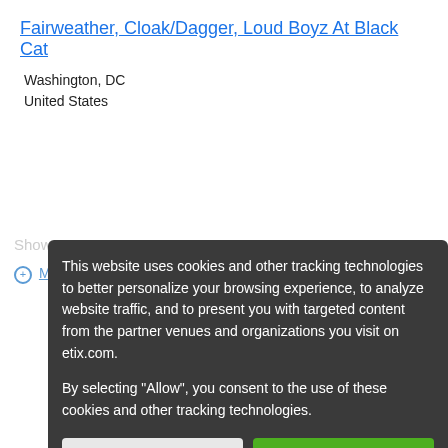Fairweather, Cloak/Dagger, Loud Boyz At Black Cat
Washington, DC
United States
Show at 8:00 PM
+ More Information
This website uses cookies and other tracking technologies to better personalize your browsing experience, to analyze website traffic, and to present you with targeted content from the partner venues and organizations you visit on etix.com.

By selecting "Allow", you consent to the use of these cookies and other tracking technologies.
Do Not Allow
Allow
$15.00
11
Sun
[Figure (photo): Black and white photo of band members playing drums on stage]